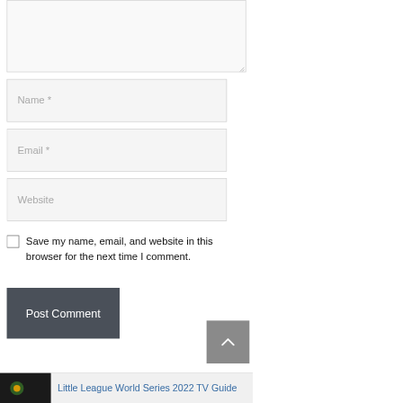[Figure (screenshot): Bottom portion of a comment form with textarea (top clipped), Name field, Email field, Website field, Save my name checkbox, Post Comment button, back-to-top button, and a footer link to 'Little League World Series 2022 TV Guide']
Name *
Email *
Website
Save my name, email, and website in this browser for the next time I comment.
Post Comment
Little League World Series 2022 TV Guide